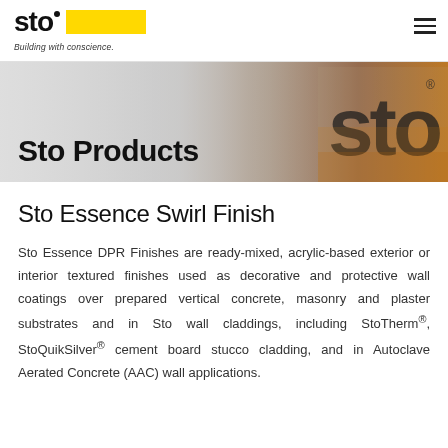sto · Building with conscience.
[Figure (photo): Hero banner with Sto Products heading and Sto logo/signage in background]
Sto Essence Swirl Finish
Sto Essence DPR Finishes are ready-mixed, acrylic-based exterior or interior textured finishes used as decorative and protective wall coatings over prepared vertical concrete, masonry and plaster substrates and in Sto wall claddings, including StoTherm®, StoQuikSilver® cement board stucco cladding, and in Autoclave Aerated Concrete (AAC) wall applications.